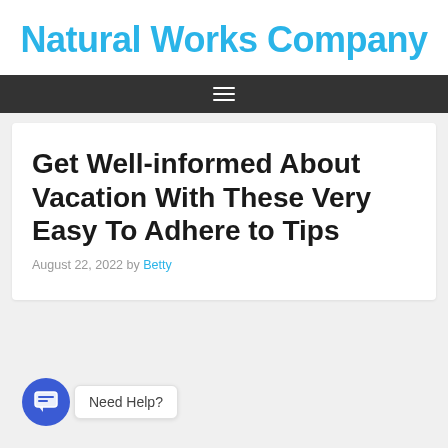Natural Works Company
Get Well-informed About Vacation With These Very Easy To Adhere to Tips
August 22, 2022 by Betty